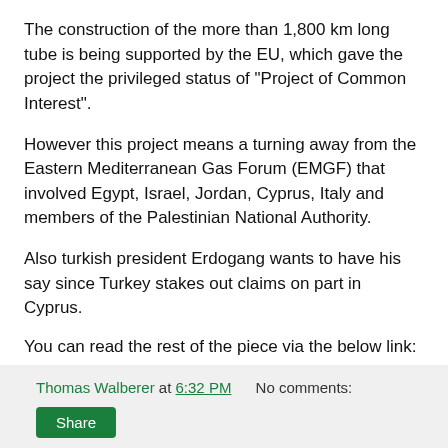The construction of the more than 1,800 km long tube is being supported by the EU, which gave the project the privileged status of "Project of Common Interest".
However this project means a turning away from the Eastern Mediterranean Gas Forum (EMGF) that involved Egypt, Israel, Jordan, Cyprus, Italy and members of the Palestinian National Authority.
Also turkish president Erdogang wants to have his say since Turkey stakes out claims on part in Cyprus.
You can read the rest of the piece via the below link:
https://www.welt.de/wirtschaft/article204725766/EastMed-Das-ist-Europas-neue-Problem-Pipeline.html?wtrid=onsite.onsitesearch
Thomas Walberer at 6:32 PM   No comments:   Share